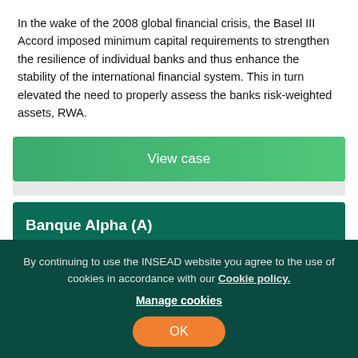In the wake of the 2008 global financial crisis, the Basel III Accord imposed minimum capital requirements to strengthen the resilience of individual banks and thus enhance the stability of the international financial system. This in turn elevated the need to properly assess the banks risk-weighted assets, RWA.
[Figure (other): Green 'View case' button]
Banque Alpha (A)
[Figure (other): Orange 'Add to cart' button with cart icon]
By Alain M. Golaz, Ingo Walter  Topic Economics & Finance
By continuing to use the INSEAD website you agree to the use of cookies in accordance with our Cookie policy. Manage cookies OK